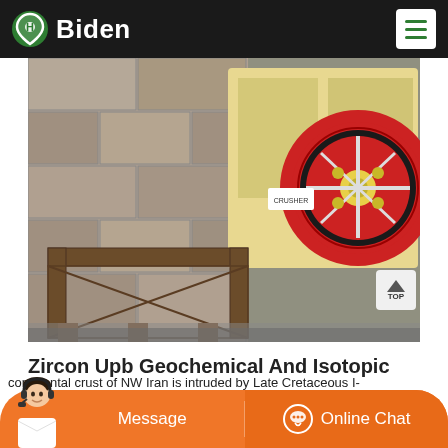Biden
[Figure (photo): Industrial jaw crusher machine mounted on a metal frame, with a large red and black flywheel visible on the right side, set against a stone/concrete block wall background.]
Zircon Upb Geochemical And Isotopic
continental crust of NW Iran is intruded by Late Cretaceous I-